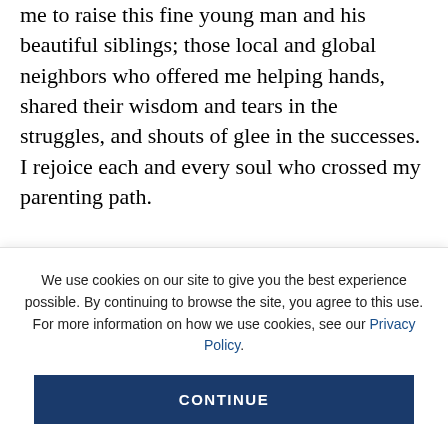me to raise this fine young man and his beautiful siblings; those local and global neighbors who offered me helping hands, shared their wisdom and tears in the struggles, and shouts of glee in the successes. I rejoice each and every soul who crossed my parenting path.

Please join me in celebrating Our Son, for this Birthday Boy belongs not only to me. I was merely a mother who cared for him the best way I knew how until it was time for him to spread his wings and share his many gifts
We use cookies on our site to give you the best experience possible. By continuing to browse the site, you agree to this use. For more information on how we use cookies, see our Privacy Policy.
CONTINUE